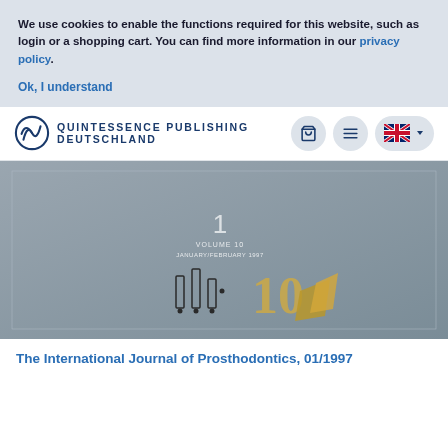We use cookies to enable the functions required for this website, such as login or a shopping cart. You can find more information in our privacy policy.
Ok, I understand
[Figure (logo): Quintessence Publishing Deutschland logo with cart, menu, and language selector icons]
[Figure (photo): Journal cover of The International Journal of Prosthodontics, Volume 10, January/February 1997, Issue 1, showing implant graphics and a gold screw on grey background]
The International Journal of Prosthodontics, 01/1997